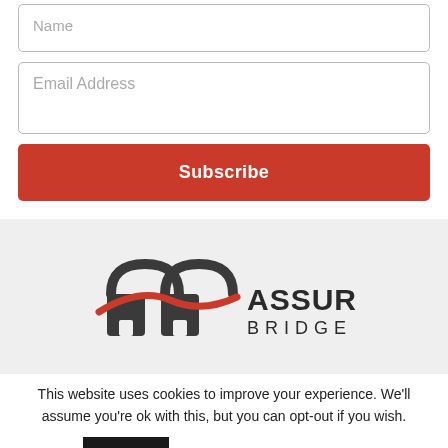Name
Email Address
Subscribe
[Figure (logo): Assured Bridge logo with two padlock icons and a red swoosh, text reads ASSURED BRIDGE]
This website uses cookies to improve your experience. We'll assume you're ok with this, but you can opt-out if you wish.
Accept
Privacy and Cookie Policies